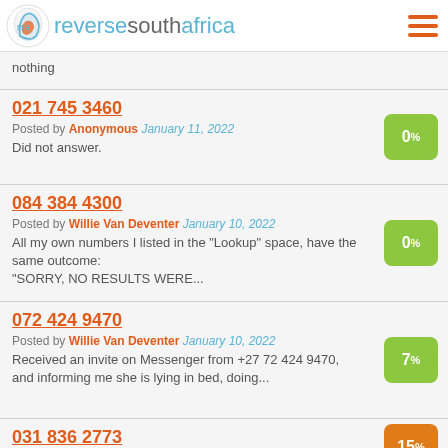reversesouthafrica
nothing
021 745 3460
Posted by Anonymous January 11, 2022
Did not answer.
084 384 4300
Posted by Willie Van Deventer January 10, 2022
All my own numbers I listed in the "Lookup" space, have the same outcome: "SORRY, NO RESULTS WERE...
072 424 9470
Posted by Willie Van Deventer January 10, 2022
Received an invite on Messenger from +27 72 424 9470, and informing me she is lying in bed, doing...
031 836 2773
Posted by Anonymous January 10, 2022